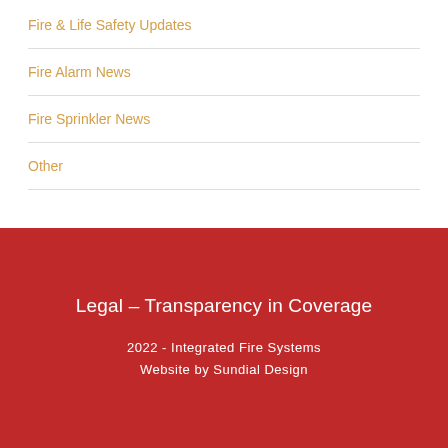Fire & Life Safety Updates
Fire Alarm News
Fire Sprinkler News
Other
Legal – Transparency in Coverage
2022 - Integrated Fire Systems
Website by Sundial Design